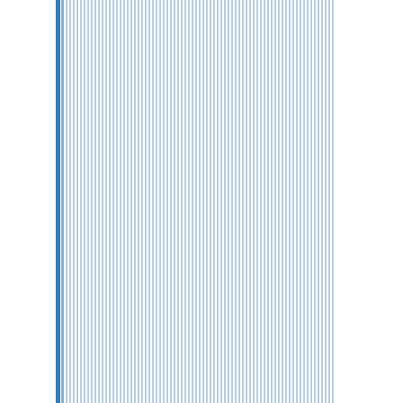[Figure (illustration): Left panel with repeating vertical blue lines resembling a collapsed accordion or sidebar]
▼
fhub
Posting Freak
Posts: 1,2...
Threads: 7...
Joined: Ju...
04-07-2012, 04:36 PM
Quote:
Still not the behaviour you are asking for.
Well, if that's true then it's definitely a serious flaw of these HP calcs.

But I always thought (at least until to... that the WP34s should (and would) be a power calculator, so being able to ru... another subroutine while the main program has (temporarily) stopped s... indeed be possible (and certainly no... difficult to implement). IMO it's no ex... at all that other (less powerful) HP ...